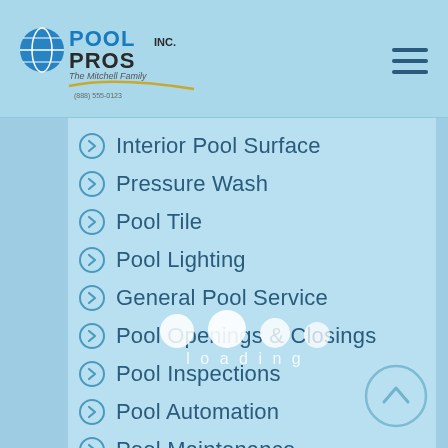Pool Pros Inc. - The Mitchell Family
Interior Pool Surface
Pressure Wash
Pool Tile
Pool Lighting
General Pool Service
Pool Openings & Closings
Pool Inspections
Pool Automation
Pool Maintenance